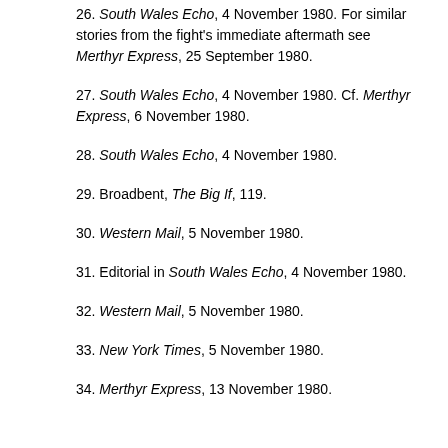26. South Wales Echo, 4 November 1980. For similar stories from the fight's immediate aftermath see Merthyr Express, 25 September 1980.
27. South Wales Echo, 4 November 1980. Cf. Merthyr Express, 6 November 1980.
28. South Wales Echo, 4 November 1980.
29. Broadbent, The Big If, 119.
30. Western Mail, 5 November 1980.
31. Editorial in South Wales Echo, 4 November 1980.
32. Western Mail, 5 November 1980.
33. New York Times, 5 November 1980.
34. Merthyr Express, 13 November 1980.